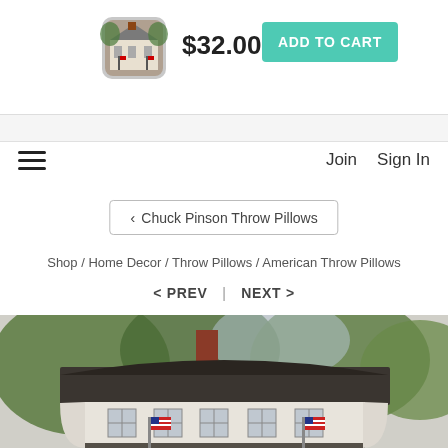[Figure (screenshot): Product thumbnail of a throw pillow showing an American colonial house with flags]
$32.00
ADD TO CART
≡
Join   Sign In
< Chuck Pinson Throw Pillows
Shop / Home Decor / Throw Pillows / American Throw Pillows
< PREV  |  NEXT >
[Figure (photo): Large throw pillow product image showing a painting of an American colonial-style house with a dark roof, brick chimney, green trees, and two American flags in front]